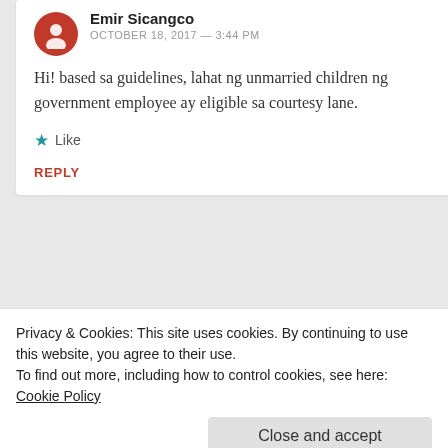[Figure (illustration): Red circular avatar icon with a person silhouette]
Emir Sicangco
OCTOBER 18, 2017 — 3:44 PM
Hi! based sa guidelines, lahat ng unmarried children ng government employee ay eligible sa courtesy lane.
★ Like
REPLY
Rongco Ignacio
Privacy & Cookies: This site uses cookies. By continuing to use this website, you agree to their use.
To find out more, including how to control cookies, see here: Cookie Policy
Close and accept